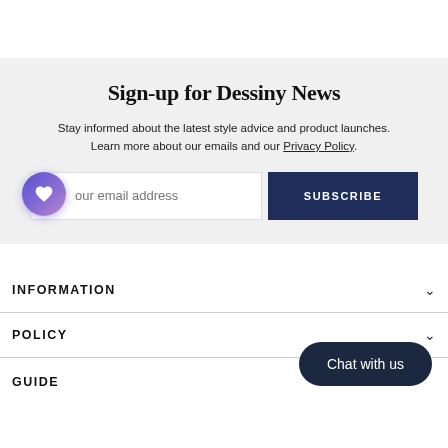Sign-up for Dessiny News
Stay informed about the latest style advice and product launches. Learn more about our emails and our Privacy Policy.
Your email address
SUBSCRIBE
INFORMATION
POLICY
GUIDE
Chat with us